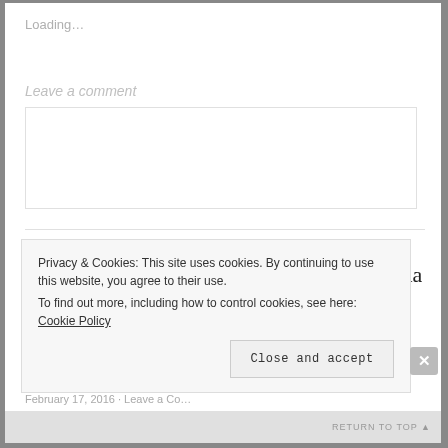Loading…
Leave a comment
UNCATEGORIZED
Rare $1 Off 7Up, Canada Dry or Squirt Soda Coupon = 2-Liters Only 56¢ at CVS (Starting 2/21)
Privacy & Cookies: This site uses cookies. By continuing to use this website, you agree to their use. To find out more, including how to control cookies, see here: Cookie Policy
Close and accept